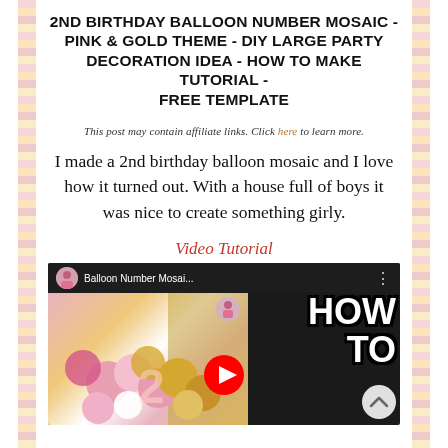2ND BIRTHDAY BALLOON NUMBER MOSAIC - PINK & GOLD THEME - DIY LARGE PARTY DECORATION IDEA - HOW TO MAKE TUTORIAL - FREE TEMPLATE
This post may contain affiliate links. Click here to learn more.
I made a 2nd birthday balloon mosaic and I love how it turned out. With a house full of boys it was nice to create something girly.
Video Tutorial
[Figure (screenshot): YouTube video thumbnail showing balloon number mosaic with pink and gold balloons, title 'Balloon Number Mosai...' in top bar, 'HOW TO' text overlay on right side, YouTube play button in center, pink and gold balloon arrangement on left.]